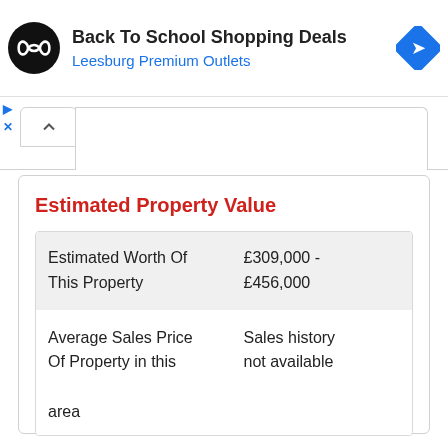[Figure (screenshot): Advertisement banner: Back To School Shopping Deals at Leesburg Premium Outlets with logo and navigation icon]
Estimated Property Value
| Estimated Worth Of This Property | £309,000 - £456,000 |
| Average Sales Price Of Property in this area | Sales history not available |